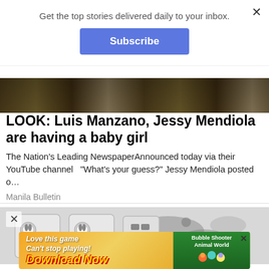Get the top stories delivered daily to your inbox.
Subscribe
[Figure (photo): Partial photo of people outdoors, cropped at top of frame showing trees and clothing]
LOOK: Luis Manzano, Jessy Mendiola are having a baby girl
The Nation's Leading NewspaperAnnounced today via their YouTube channel  "What's your guess?" Jessy Mendiola posted o…
Manila Bulletin
[Figure (photo): Photo of electrical wall outlets/sockets with mold or dark stains on the wall around them]
[Figure (infographic): Advertisement banner: Love this game Can't stop playing! Download Now - Bubble Shooter Animal World]